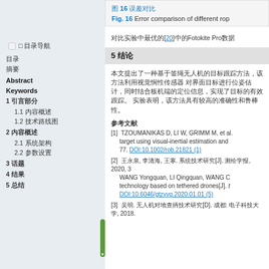[Figure (other): Left navigation panel with table of contents including Abstract, Keywords, sections 1-5 with subsections, and a checkbox element at the top]
図 16 （Chinese characters）
Fig. 16 Error comparison of different rop...
（Chinese characters）[20]（Chinese characters）Fotokite Pro（Chinese characters）
5 （Chinese characters）
（Chinese/Japanese characters — conclusion paragraph）
参考文献
[1] TZOUMANIKAS D, LI W, GRIMM M, et al. ... target using visual-inertial estimation and ... 77. DOI:10.1002/rob.21821 (1)
[2] （Chinese characters）, （Chinese characters）, （Chinese characters）. （Chinese characters）[J]. （Chinese characters）, 2020, 3... WANG Yongquan, LI Qingquan, WANG C... technology based on tethered drones[J]. ... DOI:10.6046/gtzyyg.2020.01.01 (5)
[3] （Chinese characters）. （Chinese characters）[D]. （Chinese characters）: （Chinese characters）, 2018.